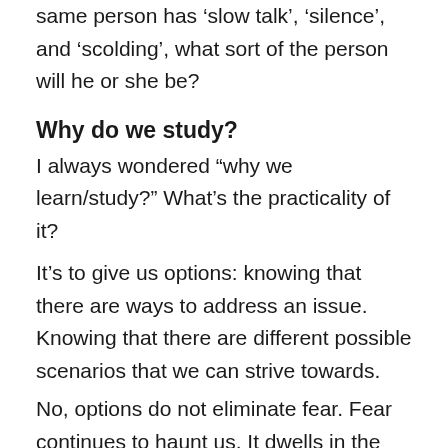same person has ‘slow talk’, ‘silence’, and ‘scolding’, what sort of the person will he or she be?
Why do we study?
I always wondered “why we learn/study?” What’s the practicality of it?
It’s to give us options: knowing that there are ways to address an issue. Knowing that there are different possible scenarios that we can strive towards.
No, options do not eliminate fear. Fear continues to haunt us. It dwells in the recesses of our minds.